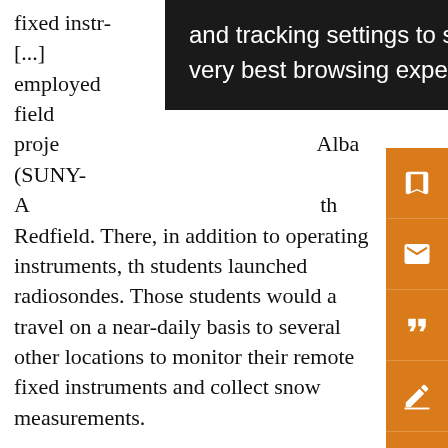fixed instruments (UU) employed the field project Alba (SUNY-A th Redfield. There, in addition to operating instruments, the students launched radiosondes. Those students would a travel on a near-daily basis to several other locations to monitor their remote fixed instruments and collect snow measurements.
[Figure (other): Black tooltip/popup overlay showing text: 'and tracking settings to store information that help give you the very best browsing experience.']
[Figure (other): Orange sidebar with save, email, quote, annotation, and share icon buttons]
The large spatial region in which lake-effect snowbands can move onshore necessitated the usage of mobile observation systems. OWLeS benefited from five upper-air sounding units operated by MU, UU, the University of Illinois at Urbana–Champaign (UIUC), the State University of New York at Oswego (SUNY-O), and